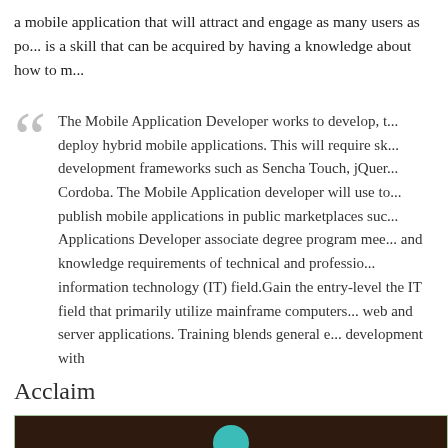a mobile application that will attract and engage as many users as po... is a skill that can be acquired by having a knowledge about how to m...
The Mobile Application Developer works to develop, t... deploy hybrid mobile applications. This will require sk... development frameworks such as Sencha Touch, jQuer... Cordoba. The Mobile Application developer will use to... publish mobile applications in public marketplaces suc... Applications Developer associate degree program mee... and knowledge requirements of technical and professio... information technology (IT) field.Gain the entry-level ... the IT field that primarily utilize mainframe computers... web and server applications. Training blends general e... development with
Acclaim
[Figure (photo): Dark brown background image area with teal circle element visible at the bottom center, partially cropped.]